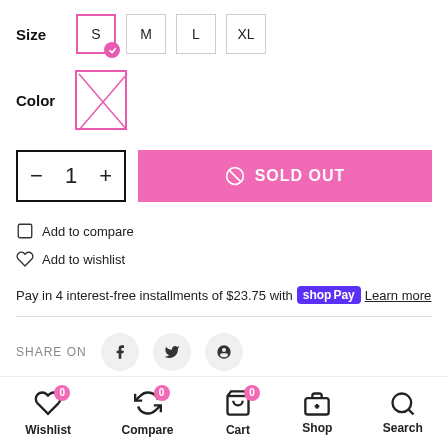Size   S   M   L   XL
[Figure (other): Color swatch placeholder with pink border and X through it]
Color
- 1 + [quantity box]  SOLD OUT [button]
Add to compare
Add to wishlist
Pay in 4 interest-free installments of $23.75 with shop Pay Learn more
SHARE ON
Wishlist 0   Compare 0   Cart 0   Shop   Search